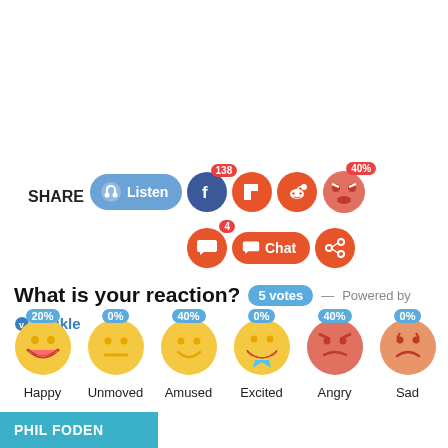SHARE
[Figure (infographic): Share bar with Listen button, Facebook (138), Flipboard, Reddit, Angry emoji (40%) icons, and Chat/share row with 4 badge]
What is your reaction? 5 votes — Powered by Vuukle
[Figure (infographic): Emoji reaction widget: Happy 20%, Unmoved 0%, Amused 40%, Excited 0%, Angry 40%, Sad 0%]
PHIL FODEN